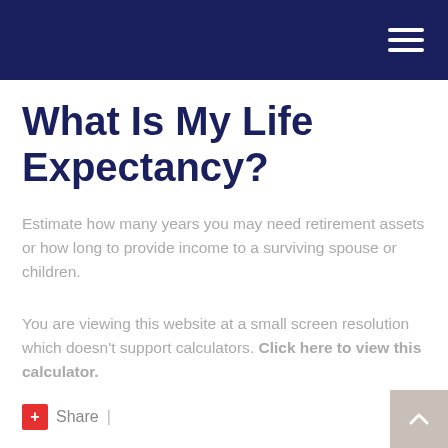What Is My Life Expectancy?
Estimate how many years you may need retirement assets or how long to provide income to a surviving spouse or children.
You are viewing this website at a small screen resolution which doesn't support calculators. Click here to view this calculator.
+ Share |